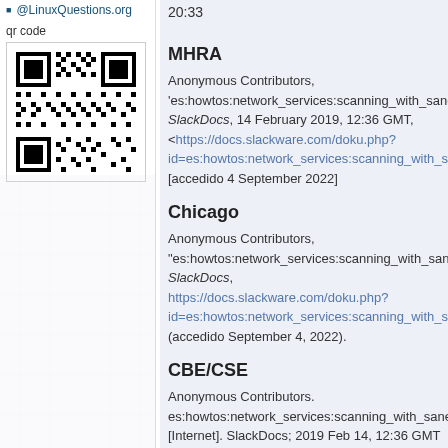@LinuxQuestions.org
qr code
[Figure (other): QR code image for a SlackDocs page about scanning with SANE]
20:33
MHRA
Anonymous Contributors, 'es:howtos:network_services:scanning_with_sane SlackDocs, 14 February 2019, 12:36 GMT, <https://docs.slackware.com/doku.php?id=es:howtos:network_services:scanning_with_sa [accedido 4 September 2022]
Chicago
Anonymous Contributors, "es:howtos:network_services:scanning_with_sane SlackDocs, https://docs.slackware.com/doku.php?id=es:howtos:network_services:scanning_with_sa (accedido September 4, 2022).
CBE/CSE
Anonymous Contributors. es:howtos:network_services:scanning_with_sane [Internet]. SlackDocs; 2019 Feb 14, 12:36 GMT